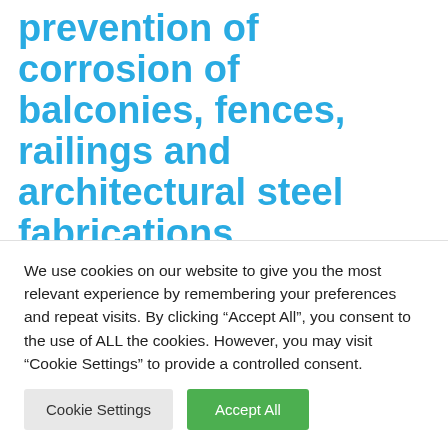prevention of corrosion of balconies, fences, railings and architectural steel fabrications
Metal or thermal spraying for corrosion protection of steel is widely used in a large number of applications. One
We use cookies on our website to give you the most relevant experience by remembering your preferences and repeat visits. By clicking “Accept All”, you consent to the use of ALL the cookies. However, you may visit “Cookie Settings” to provide a controlled consent.